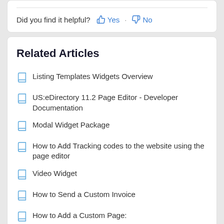Did you find it helpful? Yes No
Related Articles
Listing Templates Widgets Overview
US:eDirectory 11.2 Page Editor - Developer Documentation
Modal Widget Package
How to Add Tracking codes to the website using the page editor
Video Widget
How to Send a Custom Invoice
How to Add a Custom Page:
Listing Template Editor